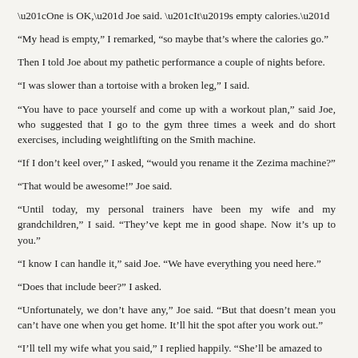“One is OK,” Joe said. “It’s empty calories.”
“My head is empty,” I remarked, “so maybe that’s where the calories go.”
Then I told Joe about my pathetic performance a couple of nights before.
“I was slower than a tortoise with a broken leg,” I said.
“You have to pace yourself and come up with a workout plan,” said Joe, who suggested that I go to the gym three times a week and do short exercises, including weightlifting on the Smith machine.
“If I don’t keel over,” I asked, “would you rename it the Zezima machine?”
“That would be awesome!” Joe said.
“Until today, my personal trainers have been my wife and my grandchildren,” I said. “They’ve kept me in good shape. Now it’s up to you.”
“I know I can handle it,” said Joe. “We have everything you need here.”
“Does that include beer?” I asked.
“Unfortunately, we don’t have any,” Joe said. “But that doesn’t mean you can’t have one when you get home. It’ll hit the spot after you work out.”
“I’ll tell my wife what you said,” I replied happily. “She’ll be amazed to hear that a personal trainer still believes in the cold one.”